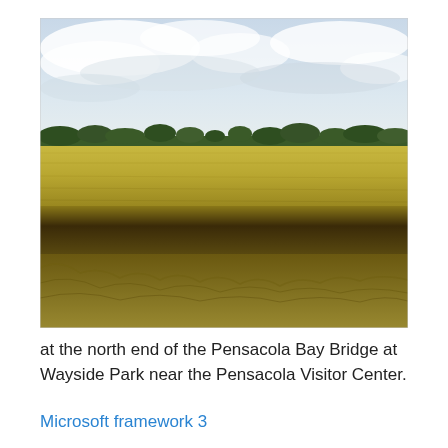[Figure (photo): A wide landscape photograph showing a large field of golden-yellow grain crops in the foreground with darker, flattened grass or stubble at the base, a line of green trees on the horizon in the middle distance, and a cloudy sky with patches of blue overhead.]
at the north end of the Pensacola Bay Bridge at Wayside Park near the Pensacola Visitor Center.
Microsoft framework 3